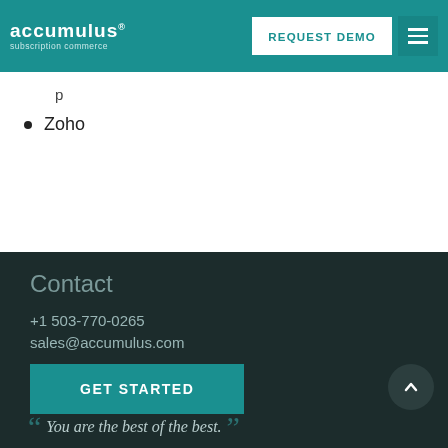accumulus subscription commerce | REQUEST DEMO
Zoho
Contact
+1 503-770-0265
sales@accumulus.com
GET STARTED
You are the best of the best.